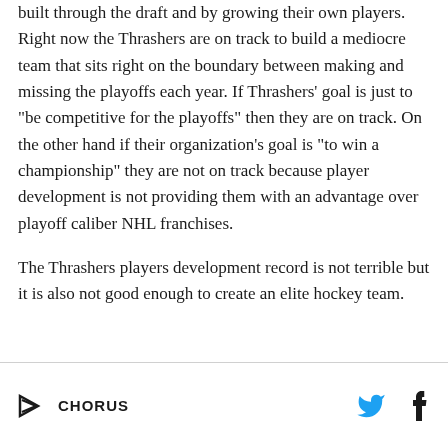built through the draft and by growing their own players. Right now the Thrashers are on track to build a mediocre team that sits right on the boundary between making and missing the playoffs each year. If Thrashers' goal is just to "be competitive for the playoffs" then they are on track. On the other hand if their organization's goal is "to win a championship" they are not on track because player development is not providing them with an advantage over playoff caliber NHL franchises.
The Thrashers players development record is not terrible but it is also not good enough to create an elite hockey team.
CHORUS